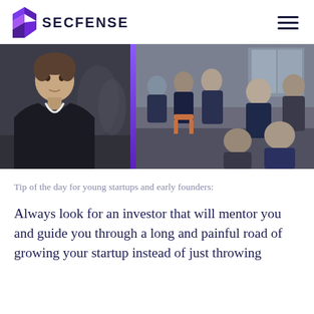SECFENSE
[Figure (photo): Two photos side by side: left shows a man in a black sweater looking at camera, right shows a group of people seated at a panel or event discussion, separated by a purple vertical stripe.]
Tip of the day for young startups and early founders:
Always look for an investor that will mentor you and guide you through a long and painful road of growing your startup instead of just throwing